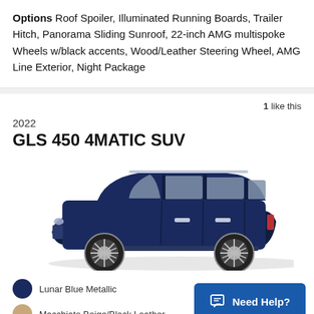Options Roof Spoiler, Illuminated Running Boards, Trailer Hitch, Panorama Sliding Sunroof, 22-inch AMG multispoke Wheels w/black accents, Wood/Leather Steering Wheel, AMG Line Exterior, Night Package
1 like this
2022
GLS 450 4MATIC SUV
[Figure (photo): Side profile photo of a 2022 Mercedes-Benz GLS 450 4MATIC SUV in Lunar Blue Metallic color]
Lunar Blue Metallic
Macchiato Beige/Black Leather
Need Help?